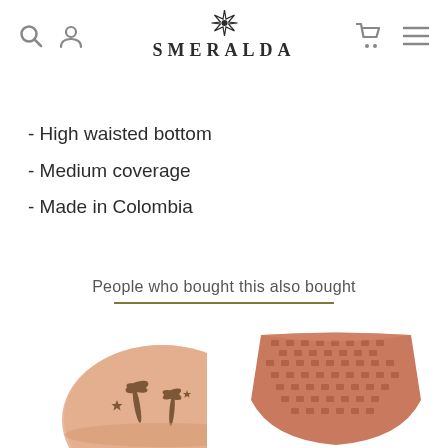SMERALDA
- High waisted bottom
- Medium coverage
- Made in Colombia
People who bought this also bought
[Figure (photo): Two swimwear bottoms: left is a peach/pink high-waisted bottom with tropical palm and star print; right is a terracotta/rust textured bikini bottom, both shown cropped at bottom of page]